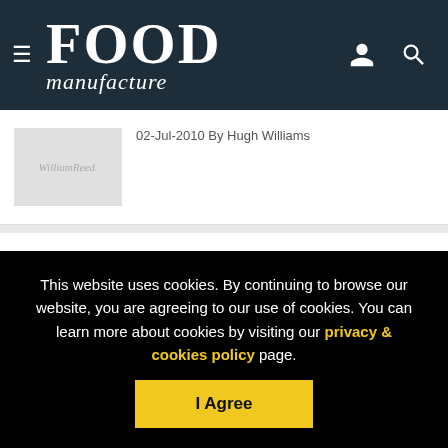Food Manufacture
02-Jul-2010 By Hugh Williams
Ainsley's amazing new grains
01-Mar-2010
Meet the new master of snacks
This website uses cookies. By continuing to browse our website, you are agreeing to our use of cookies. You can learn more about cookies by visiting our privacy & cookies policy page.